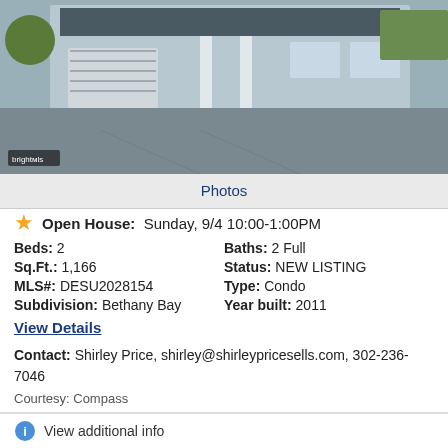[Figure (photo): Exterior photo of a residential condo with driveway, garage, and landscaping. Bright MLS watermark in lower left.]
Photos
Open House:  Sunday, 9/4 10:00-1:00PM
| Beds: 2 | Baths: 2 Full |
| Sq.Ft.: 1,166 | Status: NEW LISTING |
| MLS#: DESU2028154 | Type: Condo |
| Subdivision: Bethany Bay | Year built: 2011 |
View Details
Contact: Shirley Price, shirley@shirleypricesells.com, 302-236-7046
Courtesy: Compass
Request Info
Save Property
View additional info